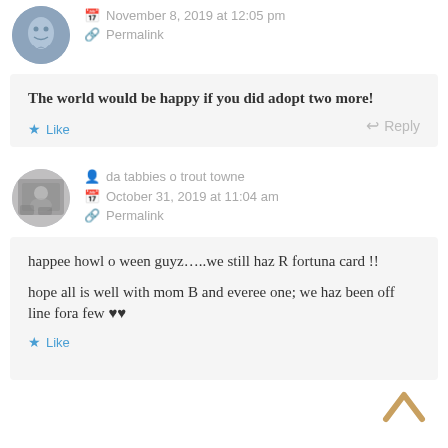[Figure (illustration): Circular avatar image of a stylized ghost-like figure in blue-gray tones]
November 8, 2019 at 12:05 pm
Permalink
The world would be happy if you did adopt two more!
Like
Reply
[Figure (illustration): Circular avatar image for 'da tabbies o trout towne' showing cats/kittens]
da tabbies o trout towne
October 31, 2019 at 11:04 am
Permalink
happee howl o ween guyz…..we still haz R fortuna card !!
hope all is well with mom B and everee one; we haz been off line fora few ♥♥
Like